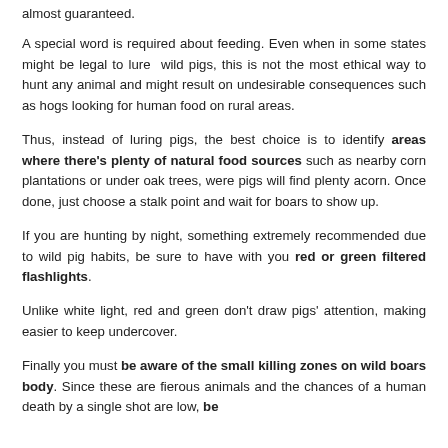almost guaranteed.
A special word is required about feeding. Even when in some states might be legal to lure  wild pigs, this is not the most ethical way to hunt any animal and might result on undesirable consequences such as hogs looking for human food on rural areas.
Thus, instead of luring pigs, the best choice is to identify areas where there's plenty of natural food sources such as nearby corn plantations or under oak trees, were pigs will find plenty acorn. Once done, just choose a stalk point and wait for boars to show up.
If you are hunting by night, something extremely recommended due to wild pig habits, be sure to have with you red or green filtered flashlights.
Unlike white light, red and green don't draw pigs' attention, making easier to keep undercover.
Finally you must be aware of the small killing zones on wild boars body. Since these are fierous animals and the chances of a human death by a single shot are low, be